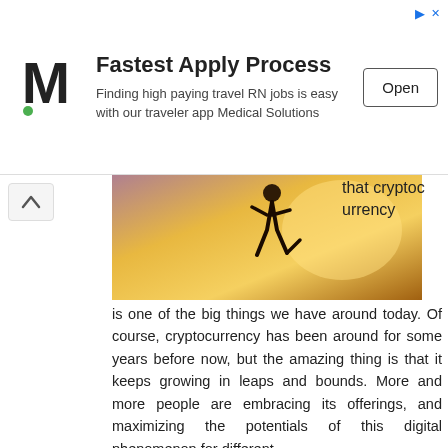[Figure (screenshot): Advertisement banner for Medical Solutions: M logo, 'Fastest Apply Process', 'Finding high paying travel RN jobs is easy with our traveler app Medical Solutions', Open button]
[Figure (photo): Person running against sunset/sunrise silhouette background]
that cryptocurrency
is one of the big things we have around today. Of course, cryptocurrency has been around for some years before now, but the amazing thing is that it keeps growing in leaps and bounds. More and more people are embracing its offerings, and maximizing the potentials of this digital phenomenon for different ...
Tweet
Save
18 November
Online slots bitcoin and their features
[Figure (photo): Bitcoin gold coin on dark background]
Online slots